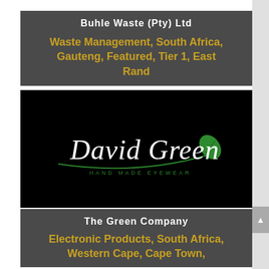Buhle Waste (Pty) Ltd
Waste Management, South Africa, Gauteng, Featured, Tier 1, East Rand
[Figure (logo): David Green Hand Made Eyewear logo — white cursive script on black background with a green leaf accent and a green curved underline, with 'HAND MADE EYEWEAR' in small spaced caps below]
The Green Company
Electronic Products, South Africa, Western Cape, Cape Town, Featured, Tier 1